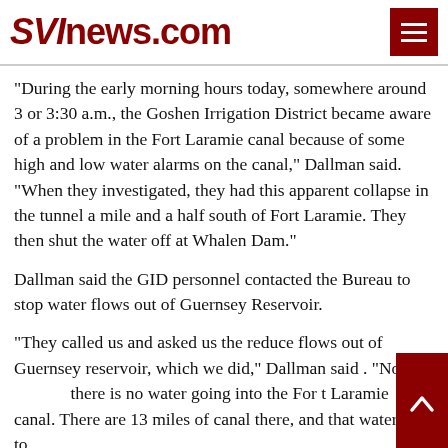SVInews.com
“During the early morning hours today, somewhere around 3 or 3:30 a.m., the Goshen Irrigation District became aware of a problem in the Fort Laramie canal because of some high and low water alarms on the canal,” Dallman said. “When they investigated, they had this apparent collapse in the tunnel a mile and a half south of Fort Laramie. They then shut the water off at Whalen Dam.”
Dallman said the GID personnel contacted the Bureau to stop water flows out of Guernsey Reservoir.
“They called us and asked us the reduce flows out of Guernsey reservoir, which we did,” Dallman said . “Now there is no water going into the Fort Laramie canal. There are 13 miles of canal there, and that water has to